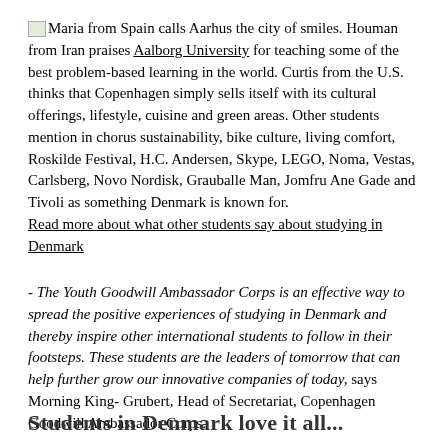Maria from Spain calls Aarhus the city of smiles. Houman from Iran praises Aalborg University for teaching some of the best problem-based learning in the world. Curtis from the U.S. thinks that Copenhagen simply sells itself with its cultural offerings, lifestyle, cuisine and green areas. Other students mention in chorus sustainability, bike culture, living comfort, Roskilde Festival, H.C. Andersen, Skype, LEGO, Noma, Vestas, Carlsberg, Novo Nordisk, Grauballe Man, Jomfru Ane Gade and Tivoli as something Denmark is known for. Read more about what other students say about studying in Denmark
- The Youth Goodwill Ambassador Corps is an effective way to spread the positive experiences of studying in Denmark and thereby inspire other international students to follow in their footsteps. These students are the leaders of tomorrow that can help further grow our innovative companies of today, says Morning King- Grubert, Head of Secretariat, Copenhagen Goodwill Ambassador Corps.
Students in Denmark love it all...